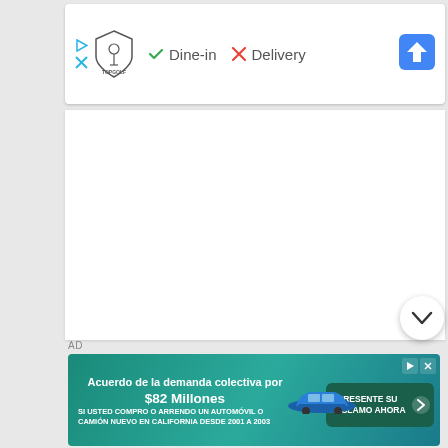[Figure (screenshot): Topgolf business listing card showing logo, Dine-in checkmark, Delivery X mark, and navigation arrow icon]
AD
[Figure (screenshot): Advertisement banner in Spanish: 'Acuerdo de la demanda colectiva por $82 Millones. SI USTED COMPRO O ARRENDO UN AUTOMÓVIL O CAMIÓN NUEVO EN CALIFORNIA DESDE 2001 A 2003' with car image and 'PRESENTE SU RECLAMO AHORA' button]